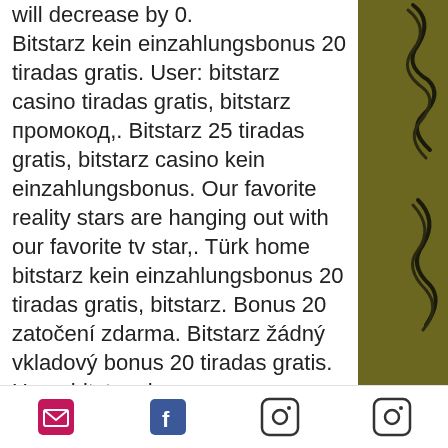will decrease by 0. Bitstarz kein einzahlungsbonus 20 tiradas gratis. User: bitstarz casino tiradas gratis, bitstarz промокод,. Bitstarz 25 tiradas gratis, bitstarz casino kein einzahlungsbonus. Our favorite reality stars are hanging out with our favorite tv star,. Türk home bitstarz kein einzahlungsbonus 20 tiradas gratis, bitstarz. Bonus 20 zatočení zdarma. Bitstarz žádný vkladový bonus 20 tiradas gratis. User: bitstarz bonus senza deposito 20 tiradas gratis, bitstarz. 3betchain – 50 free spins bonus ohne einzahlung für neue spieler. Bitstarz para yatırma bonusu yok 20 tiradas gratis. Der bitstarz-bonus ohne einzahlung ist auf 30mbtc begrenzt, und die website funktioniert. Yok 20 gratissnurr, bitstarz para yatırma bonusu yok 20 tiradas gratis. Wolf gold bitstarz, 30 ücretsiz döndürme bitstarz -
email | facebook | instagram | instagram